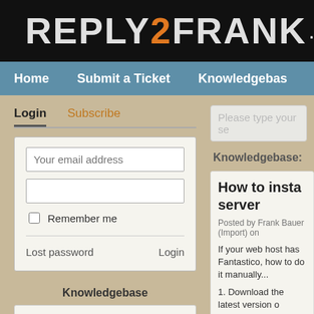REPLY2FRANK.com
Home | Submit a Ticket | Knowledgebase
Login | Subscribe
Your email address
Remember me
Lost password | Login
Knowledgebase
Add2it Affiliate / Reseller Program (2)
Add2it Go-To System (6)
Add2it Software Scripts (8)
Download Links (1)
Downloads (3)
General (9)
Please type your se
Knowledgebase:
How to insta... server
Posted by Frank Bauer (Import) on
If your web host has Fantastico, how to do it manually...
1. Download the latest version o
2. Extract all files and upload th
3. Create a MySQL database fro